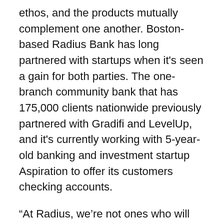ethos, and the products mutually complement one another. Boston-based Radius Bank has long partnered with startups when it's seen a gain for both parties. The one-branch community bank that has 175,000 clients nationwide previously partnered with Gradifi and LevelUp, and it's currently working with 5-year-old banking and investment startup Aspiration to offer its customers checking accounts.
“At Radius, we’re not ones who will rent our charter to anyone,” said Michael Butler, CEO of Radius Bank. “Will the fintech advance its cause, and will Radius advance its cause? It has to be something that’s meaningful and real, and when those things happen, there are great opportunities to partner.”
While Aspiration offers digital investment advice,